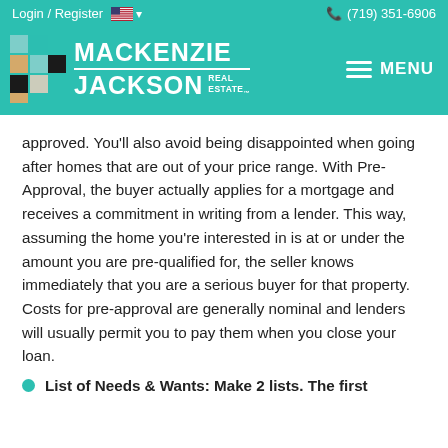Login / Register  🇺🇸 ▾    📞 (719) 351-6906
[Figure (logo): MacKenzie Jackson Real Estate logo with teal background, colorful grid squares, and white text]
approved. You'll also avoid being disappointed when going after homes that are out of your price range. With Pre-Approval, the buyer actually applies for a mortgage and receives a commitment in writing from a lender. This way, assuming the home you're interested in is at or under the amount you are pre-qualified for, the seller knows immediately that you are a serious buyer for that property. Costs for pre-approval are generally nominal and lenders will usually permit you to pay them when you close your loan.
List of Needs & Wants: Make 2 lists. The first